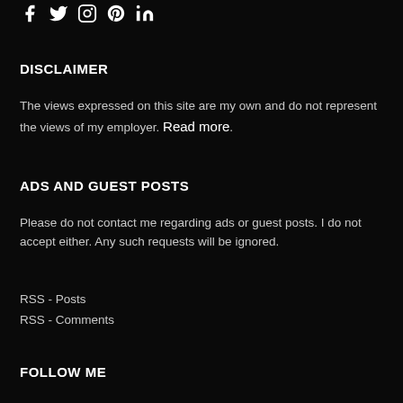[Figure (illustration): Social media icons: Facebook, Twitter, Instagram, Pinterest, LinkedIn in white on black background]
DISCLAIMER
The views expressed on this site are my own and do not represent the views of my employer. Read more.
ADS AND GUEST POSTS
Please do not contact me regarding ads or guest posts. I do not accept either. Any such requests will be ignored.
RSS - Posts
RSS - Comments
FOLLOW ME